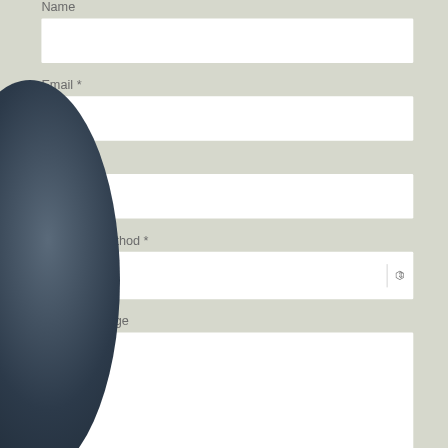Name
[Figure (other): Empty text input field for Name]
Email *
[Figure (other): Empty text input field for Email]
Phone *
[Figure (other): Empty text input field for Phone]
Preferred method *
[Figure (other): Dropdown select input showing 'Phone' as selected option]
Quick Message
[Figure (other): Empty textarea input field for Quick Message]